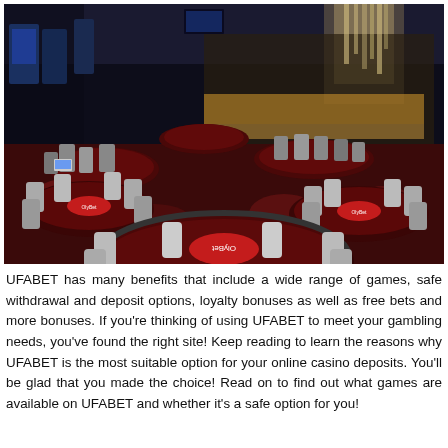[Figure (photo): Interior of a casino floor with multiple poker/gaming tables covered in dark red felt with 'OlyBet' logos, white wicker chairs, slot machines in the background, and a bar area with glowing light fixtures. The carpet has a red and black floral pattern.]
UFABET has many benefits that include a wide range of games, safe withdrawal and deposit options, loyalty bonuses as well as free bets and more bonuses. If you're thinking of using UFABET to meet your gambling needs, you've found the right site! Keep reading to learn the reasons why UFABET is the most suitable option for your online casino deposits. You'll be glad that you made the choice! Read on to find out what games are available on UFABET and whether it's a safe option for you!